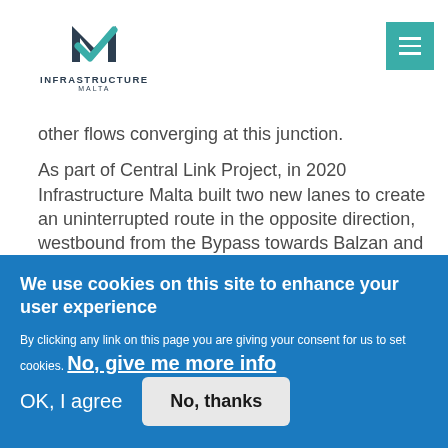[Figure (logo): Infrastructure Malta logo with checkmark icon and text INFRASTRUCTURE MALTA]
other flows converging at this junction.
As part of Central Link Project, in 2020 Infrastructure Malta built two new lanes to create an uninterrupted route in the opposite direction, westbound from the Bypass towards Balzan and Attard.  By eliminating the principal eastbound (new underpass) and westbound (2020 lanes)
We use cookies on this site to enhance your user experience
By clicking any link on this page you are giving your consent for us to set cookies.  No, give me more info
OK, I agree
No, thanks